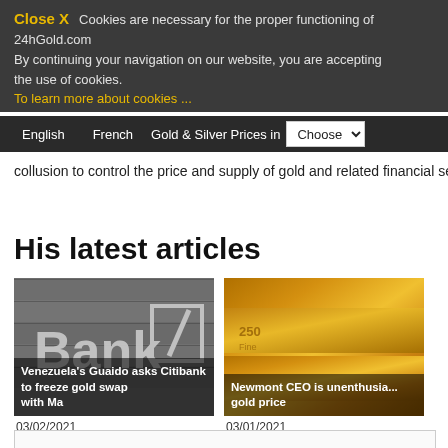Close X  Cookies are necessary for the proper functioning of 24hGold.com. By continuing your navigation on our website, you are accepting the use of cookies. To learn more about cookies ...
English  French  Gold & Silver Prices in  Choose
collusion to control the price and supply of gold and related financial secu
His latest articles
[Figure (photo): Deutsche Bank sign on stone wall showing 'Bank' text with Deutsche Bank logo]
Venezuela's Guaido asks Citibank to freeze gold swap with Ma
03/02/2021
[Figure (photo): Close-up of gold bars with engraved text showing fine gold markings]
Newmont CEO is unenthusia... gold price
03/01/2021